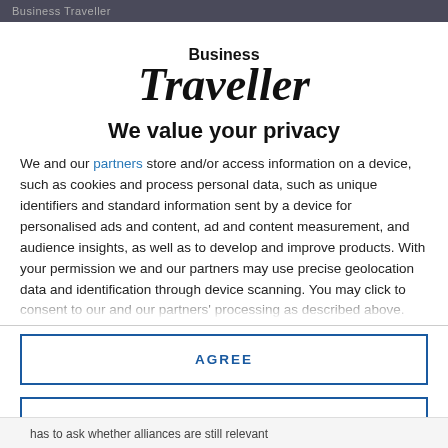Business Traveller
[Figure (logo): Business Traveller logo — 'Business' in small bold text above large bold italic 'Traveller']
We value your privacy
We and our partners store and/or access information on a device, such as cookies and process personal data, such as unique identifiers and standard information sent by a device for personalised ads and content, ad and content measurement, and audience insights, as well as to develop and improve products. With your permission we and our partners may use precise geolocation data and identification through device scanning. You may click to consent to our and our partners' processing as described above. Alternatively you may access more detailed information...
AGREE
MORE OPTIONS
has to ask whether alliances are still relevant